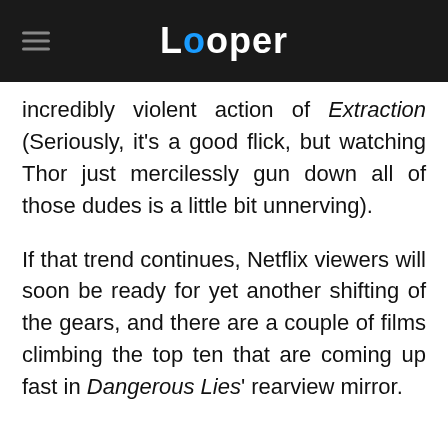Looper
incredibly violent action of Extraction (Seriously, it's a good flick, but watching Thor just mercilessly gun down all of those dudes is a little bit unnerving).
If that trend continues, Netflix viewers will soon be ready for yet another shifting of the gears, and there are a couple of films climbing the top ten that are coming up fast in Dangerous Lies' rearview mirror.